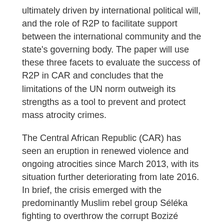ultimately driven by international political will, and the role of R2P to facilitate support between the international community and the state's governing body. The paper will use these three facets to evaluate the success of R2P in CAR and concludes that the limitations of the UN norm outweigh its strengths as a tool to prevent and protect mass atrocity crimes.
The Central African Republic (CAR) has seen an eruption in renewed violence and ongoing atrocities since March 2013, with its situation further deteriorating from late 2016. In brief, the crisis emerged with the predominantly Muslim rebel group Séléka fighting to overthrow the corrupt Bozizé government, which resulted in the formation and subsequent retaliation by the mostly Christian anti-balaka militias. Both rebel groups, as well as armed forces and civilian mobs have committed mass atrocity crimes (UNSC Resolution 2134, 2014, p.1). The instrumentalisation of